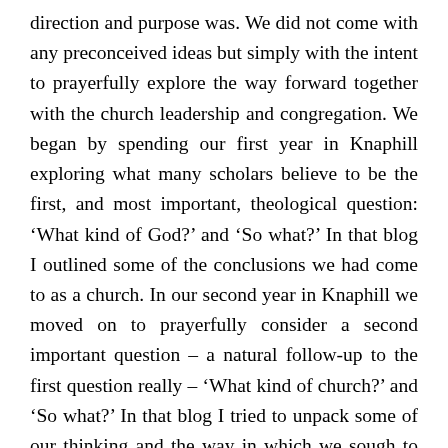direction and purpose was. We did not come with any preconceived ideas but simply with the intent to prayerfully explore the way forward together with the church leadership and congregation. We began by spending our first year in Knaphill exploring what many scholars believe to be the first, and most important, theological question: ‘What kind of God?’ and ‘So what?’ In that blog I outlined some of the conclusions we had come to as a church. In our second year in Knaphill we moved on to prayerfully consider a second important question – a natural follow-up to the first question really – ‘What kind of church?’ and ‘So what?’ In that blog I tried to unpack some of our thinking and the way in which we sough to start to ‘do church’ somewhat differently as a result. In our third year in Knaphill we took the next obvious step in this journey of discovery and considered a third important question: